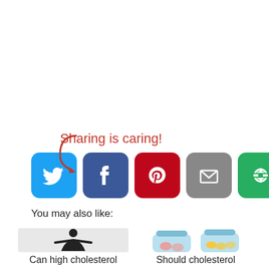[Figure (screenshot): Social sharing section with 'Sharing is caring!' text in red cursive with a red arrow, and five social media icon buttons: Twitter (blue), Facebook (dark blue), Pinterest (red), Email (gray), and a share/link button (green)]
You may also like:
[Figure (photo): Silhouette of a person with arms outstretched on a light gray background]
Can high cholesterol
[Figure (illustration): Illustration of supplement/pill bottles with colorful pills inside]
Should cholesterol